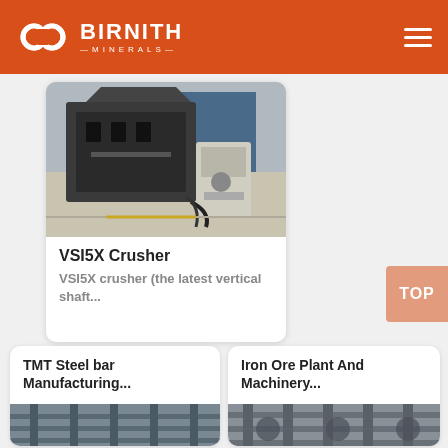BIRNITH MINERALS
[Figure (photo): VSI5X crusher machine in an industrial facility]
VSI5X Crusher
VSI5X crusher (the latest vertical shaft...
TMT Steel bar Manufacturing...
[Figure (photo): TMT steel bar manufacturing machinery]
Iron Ore Plant And Machinery...
[Figure (photo): Iron ore plant and machinery photo]